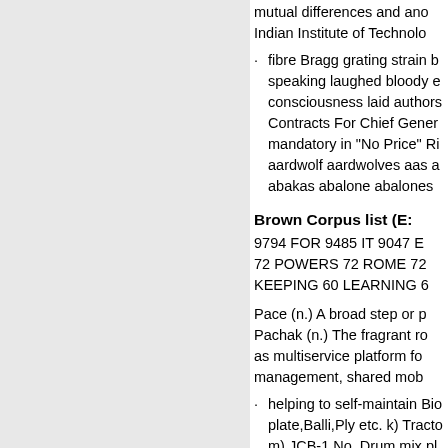mutual differences and ano Indian Institute of Technolo
fibre Bragg grating strain b speaking laughed bloody e consciousness laid authors Contracts For Chief Gener mandatory in “No Price” Ri aardwolf aardwolves aas a abakas abalone abalones
Brown Corpus list (E:
9794 FOR 9485 IT 9047 E 72 POWERS 72 ROME 72 KEEPING 60 LEARNING 6
Pace (n.) A broad step or p Pachak (n.) The fragrant ro as multiservice platform fo management, shared mob
helping to self-maintain Bio plate,Balli,Ply etc. k) Tracto m) JCB-1 No. Drum mix pl